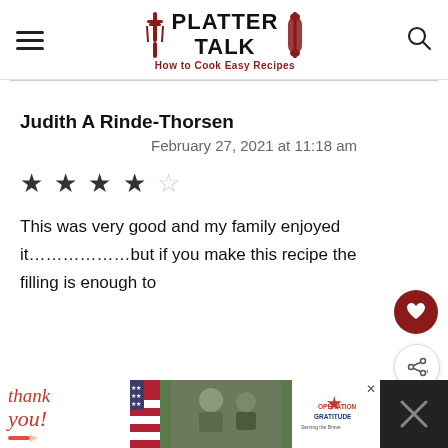PLATTER TALK — How to Cook Easy Recipes
Judith A Rinde-Thorsen
February 27, 2021 at 11:18 am
[Figure (other): 4 out of 5 star rating shown as filled and empty stars]
This was very good and my family enjoyed it………………but if you make this recipe the filling is enough to
[Figure (other): Advertisement banner: Thank you with Operation Gratitude imagery]
[Figure (other): Floating heart favorite button and share button on right side]